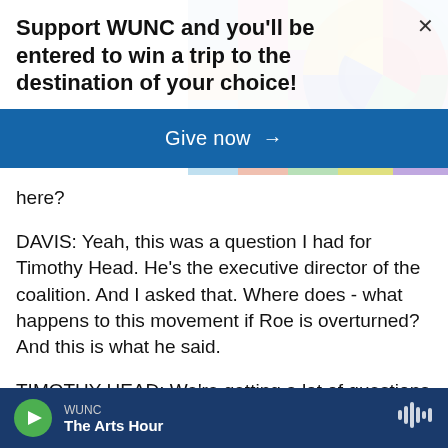[Figure (illustration): Colorful geometric background with circles and rectangles in various colors (red, blue, green, yellow, pink, teal) in upper right area]
Support WUNC and you'll be entered to win a trip to the destination of your choice!
Give now →
here?
DAVIS: Yeah, this was a question I had for Timothy Head. He's the executive director of the coalition. And I asked that. Where does - what happens to this movement if Roe is overturned? And this is what he said.
TIMOTHY HEAD: We're getting a lot of questions about whether that could kind of stunt turnout in
WUNC  The Arts Hour